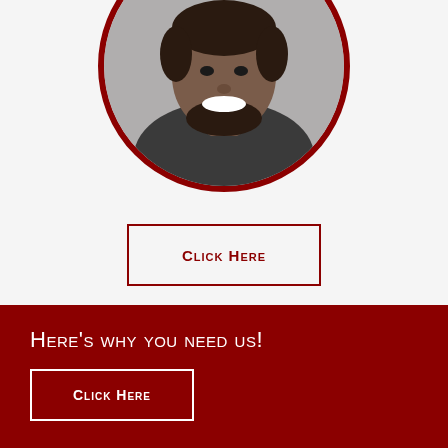[Figure (photo): Circular portrait photo of a smiling man wearing a dark jacket, with a dark red/maroon circular border, on a light gray background.]
Click Here
Here's why you need us!
Click Here